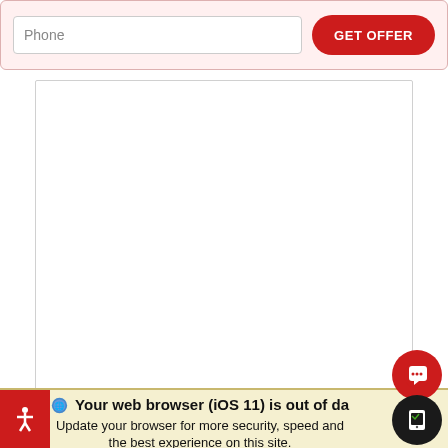[Figure (screenshot): Web form with Phone input field and GET OFFER red button on pink background]
[Figure (screenshot): Empty white content box with light grey border]
Your web browser (iOS 11) is out of date. Update your browser for more security, speed and the best experience on this site.
[Figure (screenshot): Update browser (green) and Ignore (tan) buttons. Red chat bubble button and dark device button overlaid on right. Red accessibility button on bottom left.]